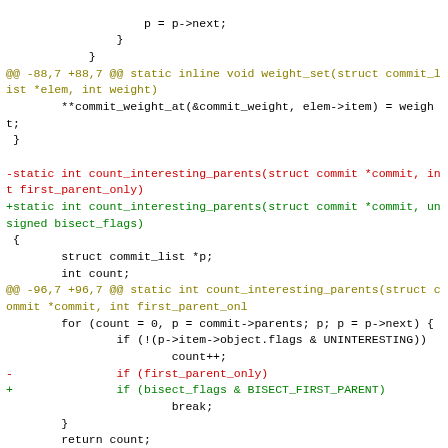Code diff showing changes to count_interesting_parents function signature and bisect flags handling in a C source file.